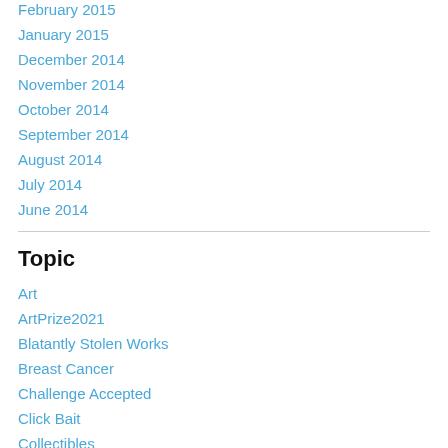February 2015
January 2015
December 2014
November 2014
October 2014
September 2014
August 2014
July 2014
June 2014
Topic
Art
ArtPrize2021
Blatantly Stolen Works
Breast Cancer
Challenge Accepted
Click Bait
Collectibles
Covid Reports